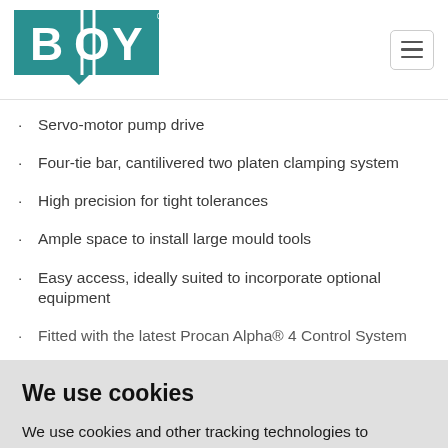BOY logo and navigation
Servo-motor pump drive
Four-tie bar, cantilivered two platen clamping system
High precision for tight tolerances
Ample space to install large mould tools
Easy access, ideally suited to incorporate optional equipment
Fitted with the latest Procan Alpha® 4 Control System
We use cookies
We use cookies and other tracking technologies to improve your browsing experience on our website, to show you personalized content and targeted ads, to analyze our website traffic, and to understand where our visitors are coming from.